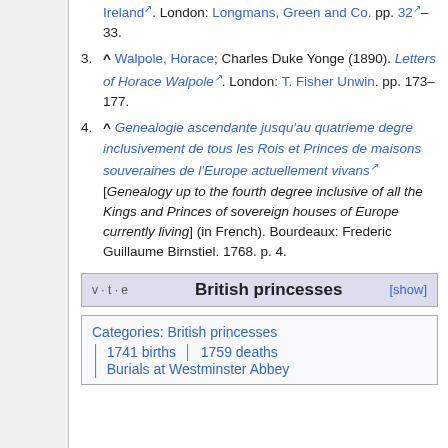3. ^ Walpole, Horace; Charles Duke Yonge (1890). Letters of Horace Walpole. London: T. Fisher Unwin. pp. 173–177.
4. ^ Genealogie ascendante jusqu'au quatrieme degre inclusivement de tous les Rois et Princes de maisons souveraines de l'Europe actuellement vivans [Genealogy up to the fourth degree inclusive of all the Kings and Princes of sovereign houses of Europe currently living] (in French). Bourdeaux: Frederic Guillaume Birnstiel. 1768. p. 4.
v · t · e   British princesses   [show]
Categories: British princesses | 1741 births | 1759 deaths | Burials at Westminster Abbey